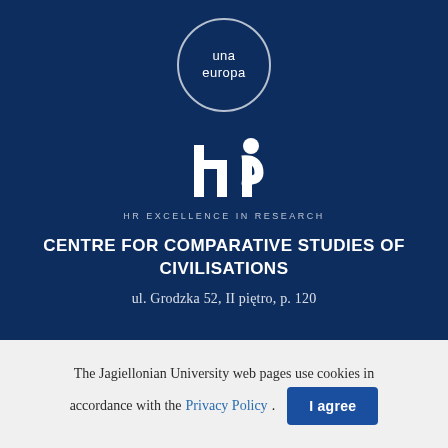[Figure (logo): Una Europa circular logo with white circle border and text 'una europa' in white on dark blue background]
[Figure (logo): HR Excellence in Research logo — stylized human figure with raised arms in white, with text 'HR EXCELLENCE IN RESEARCH' below]
CENTRE FOR COMPARATIVE STUDIES OF CIVILISATIONS
ul. Grodzka 52, II piętro, p. 120
The Jagiellonian University web pages use cookies in accordance with the Privacy Policy .
I agree